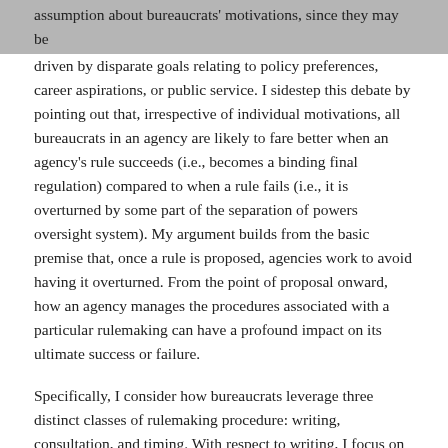assumption about bureaucrats' motivations, since they may be driven by disparate goals relating to policy preferences, career aspirations, or public service. I sidestep this debate by pointing out that, irrespective of individual motivations, all bureaucrats in an agency are likely to fare better when an agency's rule succeeds (i.e., becomes a binding final regulation) compared to when a rule fails (i.e., it is overturned by some part of the separation of powers oversight system). My argument builds from the basic premise that, once a rule is proposed, agencies work to avoid having it overturned. From the point of proposal onward, how an agency manages the procedures associated with a particular rulemaking can have a profound impact on its ultimate success or failure.
Specifically, I consider how bureaucrats leverage three distinct classes of rulemaking procedure: writing, consultation, and timing. With respect to writing, I focus on how agencies approach the drafting of a proposed rule. Crafting a rulemaking proposal presents agency bureaucrats with